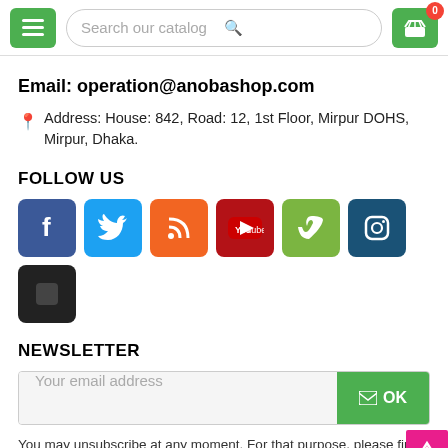Search our catalog — navigation header with menu, search, and cart
Email: operation@anobashop.com
Address: House: 842, Road: 12, 1st Floor, Mirpur DOHS, Mirpur, Dhaka.
FOLLOW US
[Figure (infographic): Row of 7 social media icon buttons: Facebook (blue), Twitter (light blue), RSS (orange), YouTube (dark red), Vimeo (green), Instagram (dark blue), and one dark/black icon.]
NEWSLETTER
[Figure (infographic): Newsletter signup form with email input field labeled 'Your email address' and a green OK button with envelope icon.]
You may unsubscribe at any moment. For that purpose, please find our contact info in the legal notice.
INFORMATION